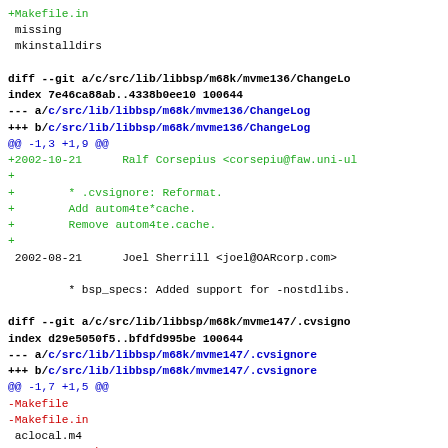+Makefile.in
 missing
 mkinstalldirs

diff --git a/c/src/lib/libbsp/m68k/mvme136/ChangeLog
index 7e46ca88ab..4338b0ee10 100644
--- a/c/src/lib/libbsp/m68k/mvme136/ChangeLog
+++ b/c/src/lib/libbsp/m68k/mvme136/ChangeLog
@@ -1,3 +1,9 @@
+2002-10-21      Ralf Corsepius <corsepiu@faw.uni-ul
+
+        * .cvsignore: Reformat.
+        Add autom4te*cache.
+        Remove autom4te.cache.
+
 2002-08-21      Joel Sherrill <joel@OARcorp.com>

         * bsp_specs: Added support for -nostdlibs.

diff --git a/c/src/lib/libbsp/m68k/mvme147/.cvsignore
index d29e5050f5..bfdfd995be 100644
--- a/c/src/lib/libbsp/m68k/mvme147/.cvsignore
+++ b/c/src/lib/libbsp/m68k/mvme147/.cvsignore
@@ -1,7 +1,5 @@
-Makefile
-Makefile.in
 aclocal.m4
-autom4te.cache
+autom4te*.cache
 config.cache
 config.fi